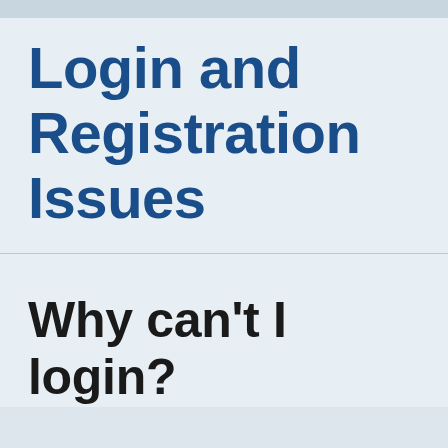Login and Registration Issues
Why can't I login?